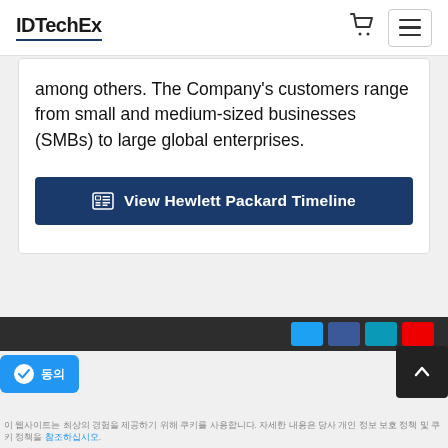IDTechEx
among others. The Company's customers range from small and medium-sized businesses (SMBs) to large global enterprises.
View Hewlett Packard Timeline